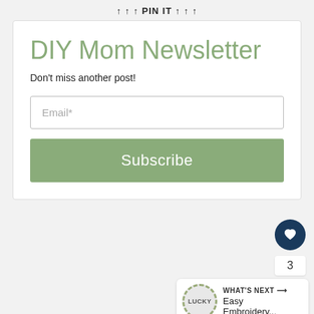↑ ↑ ↑ PIN IT ↑ ↑ ↑
DIY Mom Newsletter
Don't miss another post!
Email*
Subscribe
[Figure (infographic): Heart favorite button (dark navy circle with white heart icon), count badge showing 3, share button (white circle with share icon), and 'WHAT'S NEXT' panel with Lucky embroidery icon and text 'Easy Embroidery...']